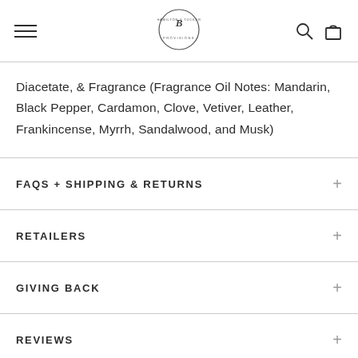Hamilton & Tucker Provisions - navigation header with logo, search, and cart icons
Diacetate, & Fragrance (Fragrance Oil Notes: Mandarin, Black Pepper, Cardamon, Clove, Vetiver, Leather, Frankincense, Myrrh, Sandalwood, and Musk)
FAQS + SHIPPING & RETURNS
RETAILERS
GIVING BACK
REVIEWS